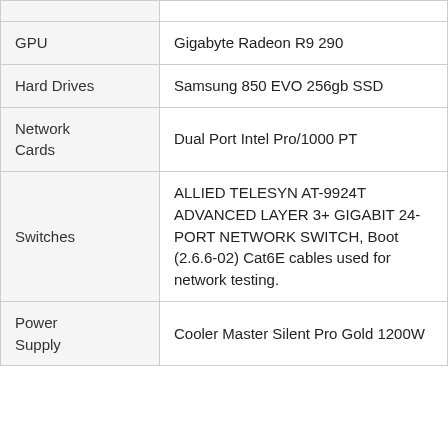| Component | Details |
| --- | --- |
| GPU | Gigabyte Radeon R9 290 |
| Hard Drives | Samsung 850 EVO 256gb SSD |
| Network Cards | Dual Port Intel Pro/1000 PT |
| Switches | ALLIED TELESYN AT-9924T ADVANCED LAYER 3+ GIGABIT 24-PORT NETWORK SWITCH, Boot (2.6.6-02) Cat6E cables used for network testing. |
| Power Supply | Cooler Master Silent Pro Gold 1200W |